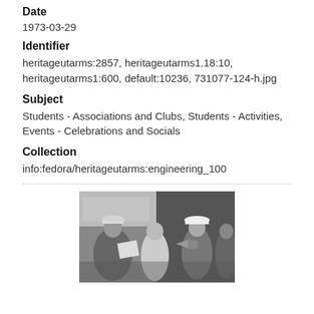Date
1973-03-29
Identifier
heritageutarms:2857, heritageutarms1.18:10, heritageutarms1:600, default:10236, 731077-124-h.jpg
Subject
Students - Associations and Clubs, Students - Activities, Events - Celebrations and Socials
Collection
info:fedora/heritageutarms:engineering_100
[Figure (photo): Black and white photograph of students wearing hard hats at an event, one holding a megaphone]